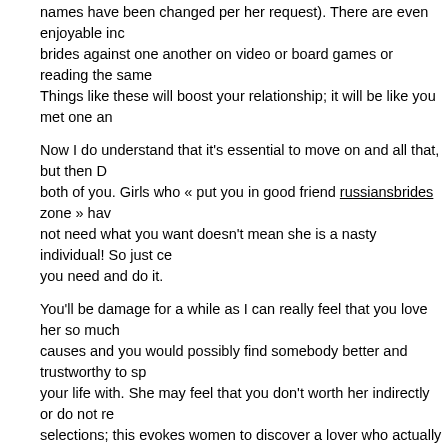names have been changed per her request). There are even enjoyable inc... brides against one another on video or board games or reading the same... Things like these will boost your relationship; it will be like you met one and...
Now I do understand that it's essential to move on and all that, but then DO... both of you. Girls who « put you in good friend russiansbrides zone » have... not need what you want doesn't mean she is a nasty individual! So just cea... you need and do it.
You'll be damage for a while as I can really feel that you love her so much... causes and you would possibly find somebody better and trustworthy to sp... your life with. She may feel that you don't worth her indirectly or do not res... selections; this evokes women to discover a lover who actually values her.
I am unable to help but wonder if, by being the unhealthy boy" proper now... you are going to miss her all together russians brides as a result of the wo... into the dangerous boys. The most effective time to start altering is now.
Specialized dating websites focus on very particular groups of people unite... vegans), religion, revenue degree, physique type or even disability. Wome... texting too. Remember that his associates are a relentless presence in his... round lots.
[Figure (infographic): Social share buttons: Facebook, Twitter, LinkedIn, Email]
Sigh....fourth night i ... sex and another cancella...